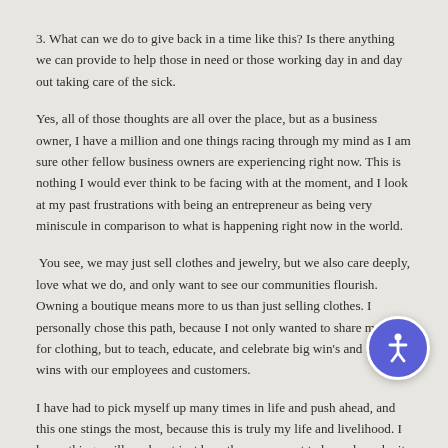3. What can we do to give back in a time like this? Is there anything we can provide to help those in need or those working day in and day out taking care of the sick.
Yes, all of those thoughts are all over the place, but as a business owner, I have a million and one things racing through my mind as I am sure other fellow business owners are experiencing right now. This is nothing I would ever think to be facing with at the moment, and I look at my past frustrations with being an entrepreneur as being very miniscule in comparison to what is happening right now in the world.
You see, we may just sell clothes and jewelry, but we also care deeply, love what we do, and only want to see our communities flourish. Owning a boutique means more to us than just selling clothes. I personally chose this path, because I not only wanted to share my love for clothing, but to teach, educate, and celebrate big win's and small wins with our employees and customers.
I have had to pick myself up many times in life and push ahead, and this one stings the most, because this is truly my life and livelihood. I know things will work out just how they are meant to be and maybe it won't be so bad after all. This is a great time to re-evaluate everything in life and how to become a